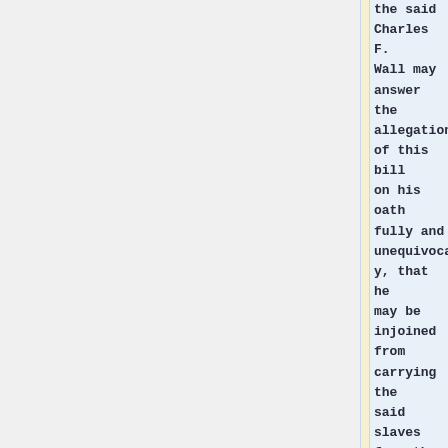the said Charles F. Wall may answer the allegations of this bill on his oath fully and unequivocally, that he may be injoined from carrying the said slaves from the County or from selling them, unless he will give bond with good